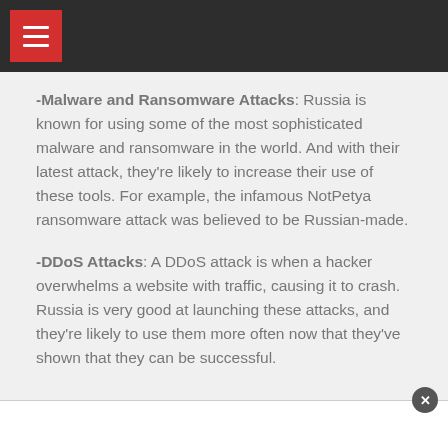Navigation menu header bar
-Malware and Ransomware Attacks: Russia is known for using some of the most sophisticated malware and ransomware in the world. And with their latest attack, they're likely to increase their use of these tools. For example, the infamous NotPetya ransomware attack was believed to be Russian-made.
-DDoS Attacks: A DDoS attack is when a hacker overwhelms a website with traffic, causing it to crash. Russia is very good at launching these attacks, and they're likely to use them more often now that they've shown that they can be successful.